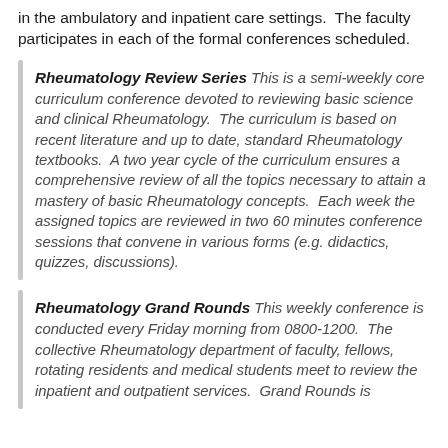in the ambulatory and inpatient care settings.  The faculty participates in each of the formal conferences scheduled.
Rheumatology Review Series This is a semi-weekly core curriculum conference devoted to reviewing basic science and clinical Rheumatology.  The curriculum is based on recent literature and up to date, standard Rheumatology textbooks.  A two year cycle of the curriculum ensures a comprehensive review of all the topics necessary to attain a mastery of basic Rheumatology concepts.  Each week the assigned topics are reviewed in two 60 minutes conference sessions that convene in various forms (e.g. didactics, quizzes, discussions).
Rheumatology Grand Rounds This weekly conference is conducted every Friday morning from 0800-1200.  The collective Rheumatology department of faculty, fellows, rotating residents and medical students meet to review the inpatient and outpatient services.  Grand Rounds is